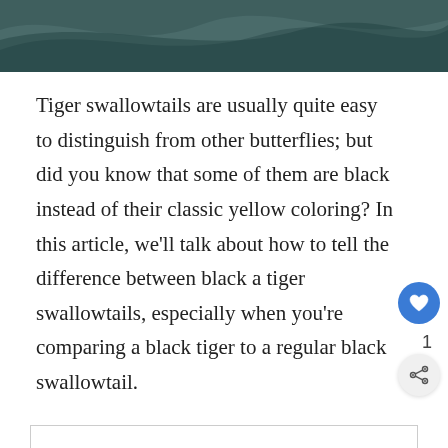[Figure (photo): Dark teal/grey decorative wave or nature image strip across the top of the page]
Tiger swallowtails are usually quite easy to distinguish from other butterflies; but did you know that some of them are black instead of their classic yellow coloring? In this article, we’ll talk about how to tell the difference between black and tiger swallowtails, especially when you’re comparing a black tiger to a regular black swallowtail.